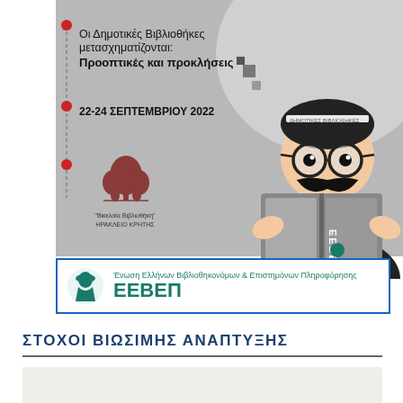[Figure (illustration): Conference poster for Greek library conference showing a cartoon man with big mustache reading a book labeled EEVEP, on gray background with title text, red bullet points, date 22-24 September 2022, and Vikelaia Library logo]
[Figure (logo): EEVEP banner - Enosi Ellinon Vivliothikonomon & Epistimonon Pliroforisis with teal/green Greek bust logo and blue border]
ΣΤΟΧΟΙ ΒΙΩΣΙΜΗΣ ΑΝΑΠΤΥΞΗΣ
[Figure (other): Light gray/beige box at bottom of page, partially visible]